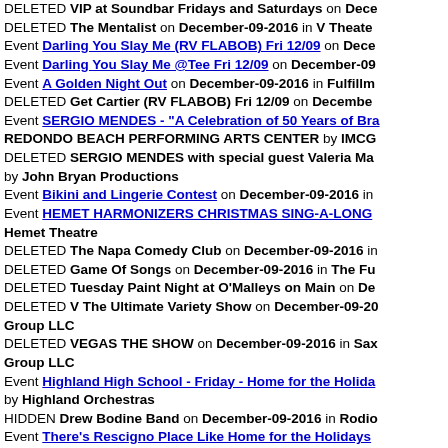DELETED VIP at Soundbar Fridays and Saturdays on Dece...
DELETED The Mentalist on December-09-2016 in V Theate...
Event Darling You Slay Me (RV FLABOB) Fri 12/09 on Dece...
Event Darling You Slay Me @Tee Fri 12/09 on December-09...
Event A Golden Night Out on December-09-2016 in Fulfillm...
DELETED Get Cartier (RV FLABOB) Fri 12/09 on December...
Event SERGIO MENDES - "A Celebration of 50 Years of Bra...
REDONDO BEACH PERFORMING ARTS CENTER by IMCG...
DELETED SERGIO MENDES with special guest Valeria Ma... by John Bryan Productions
Event Bikini and Lingerie Contest on December-09-2016 in...
Event HEMET HARMONIZERS CHRISTMAS SING-A-LONG Hemet Theatre
DELETED The Napa Comedy Club on December-09-2016 in...
DELETED Game Of Songs on December-09-2016 in The Fu...
DELETED Tuesday Paint Night at O'Malleys on Main on De...
DELETED V The Ultimate Variety Show on December-09-20... Group LLC
DELETED VEGAS THE SHOW on December-09-2016 in Sax... Group LLC
Event Highland High School - Friday - Home for the Holida... by Highland Orchestras
HIDDEN Drew Bodine Band on December-09-2016 in Rodio...
Event There's Rescigno Place Like Home for the Holidays
Event Good 'N' Plenty @ MCC Theatre on December-09-20...
Event Guitar Concert and Percussion Ensemble on...